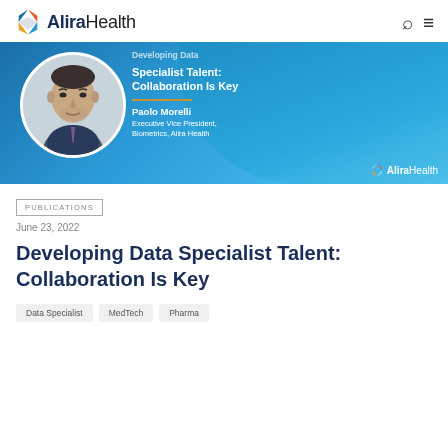AliraHealth
[Figure (photo): Banner image with Paolo Morelli headshot (circular portrait) on blue gradient background. Text reads: 'Developing Data Specialist Talent: Collaboration Is Key. Paolo Morelli, Executive Vice President, Biometrics, Alira Health'. AliraHealth logo bottom right.]
PUBLICATIONS
June 23, 2022
Developing Data Specialist Talent: Collaboration Is Key
Data Specialist
MedTech
Pharma